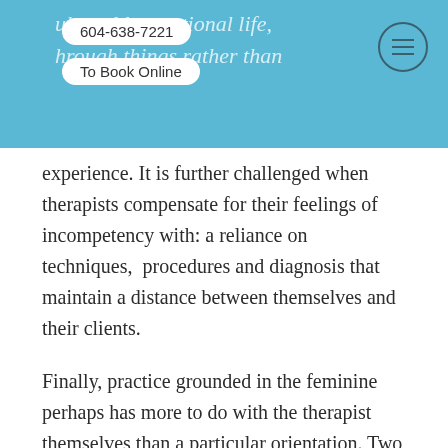604-638-7221  To Book Online
experience. It is further challenged when therapists compensate for their feelings of incompetency with: a reliance on techniques,  procedures and diagnosis that maintain a distance between themselves and their clients.
Finally, practice grounded in the feminine perhaps has more to do with the therapist themselves than a particular orientation. Two teachers who have taught me the most about being with my clients and letting go of the need to do, practice from very different approaches. Andrew Feldmar who practices within the tradition of R.D. Laing, and Sharon Stanley, the founder of Somatic